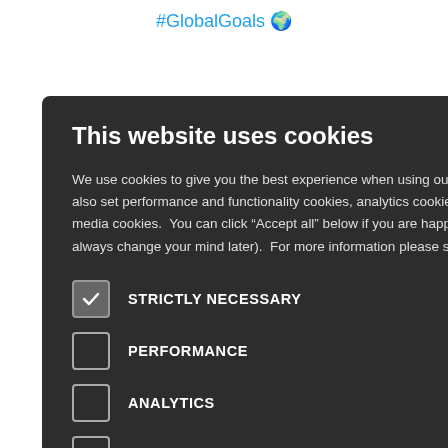#GlobalGoals 🌍
be defining #CleanAirDay, e lasting sit our website g/what-is-
[Figure (screenshot): Cookie consent modal dialog on a dark background with title 'This website uses cookies', body text explaining cookie usage, and checkboxes for STRICTLY NECESSARY (checked), PERFORMANCE, ANALYTICS, FUNCTIONALITY, SOCIAL MEDIA]
This website uses cookies
We use cookies to give you the best experience when using our website.  With your permission, we also set performance and functionality cookies, analytics cookies, advertising cookies and social media cookies.  You can click "Accept all" below if you are happy for us to place cookies (you can always change your mind later).  For more information please see our Cookie Policy
STRICTLY NECESSARY
PERFORMANCE
ANALYTICS
FUNCTIONALITY
SOCIAL MEDIA